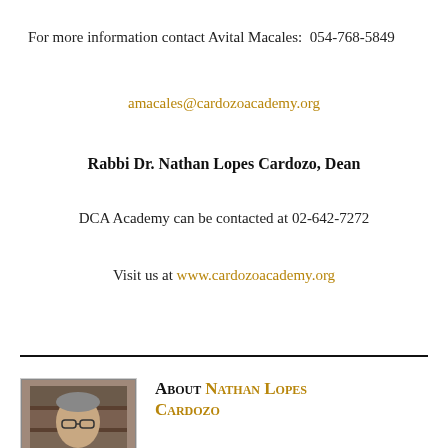For more information contact Avital Macales:  054-768-5849
amacales@cardozoacademy.org
Rabbi Dr. Nathan Lopes Cardozo, Dean
DCA Academy can be contacted at 02-642-7272
Visit us at www.cardozoacademy.org
[Figure (photo): Portrait photo of Rabbi Dr. Nathan Lopes Cardozo, an older man with glasses, against a bookshelf background]
About Nathan Lopes Cardozo